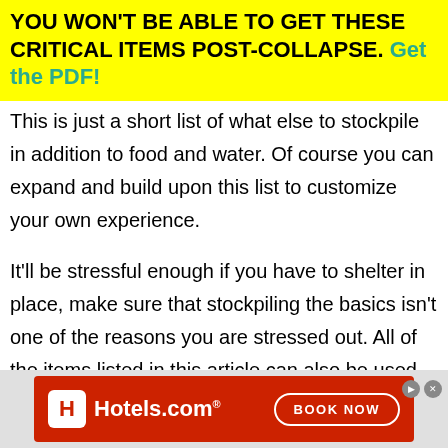YOU WON'T BE ABLE TO GET THESE CRITICAL ITEMS POST-COLLAPSE. Get the PDF!
This is just a short list of what else to stockpile in addition to food and water. Of course you can expand and build upon this list to customize your own experience.
It'll be stressful enough if you have to shelter in place, make sure that stockpiling the basics isn't one of the reasons you are stressed out. All of the items listed in this article can also be used as a bartering item.
[Figure (other): Hotels.com advertisement banner with red background, Hotels.com logo on left and 'BOOK NOW' button on right]